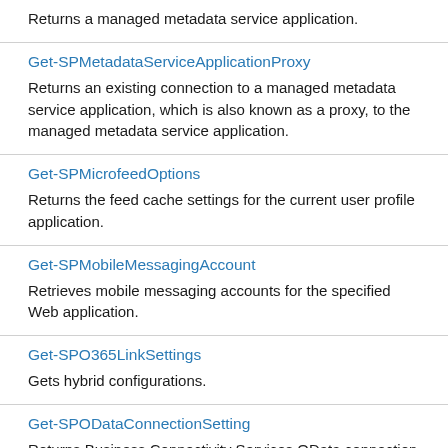Returns a managed metadata service application.
Get-SPMetadataServiceApplicationProxy
Returns an existing connection to a managed metadata service application, which is also known as a proxy, to the managed metadata service application.
Get-SPMicrofeedOptions
Returns the feed cache settings for the current user profile application.
Get-SPMobileMessagingAccount
Retrieves mobile messaging accounts for the specified Web application.
Get-SPO365LinkSettings
Gets hybrid configurations.
Get-SPODataConnectionSetting
Returns Business Connectivity Services OData connection